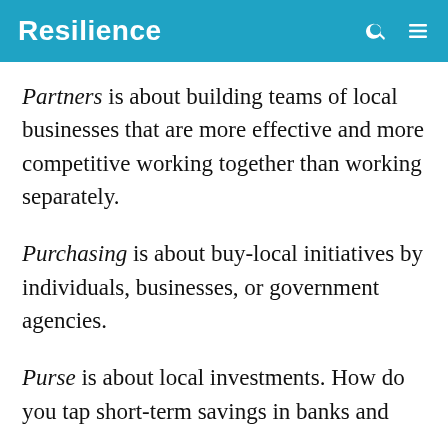Resilience
Partners is about building teams of local businesses that are more effective and more competitive working together than working separately.
Purchasing is about buy-local initiatives by individuals, businesses, or government agencies.
Purse is about local investments. How do you tap short-term savings in banks and